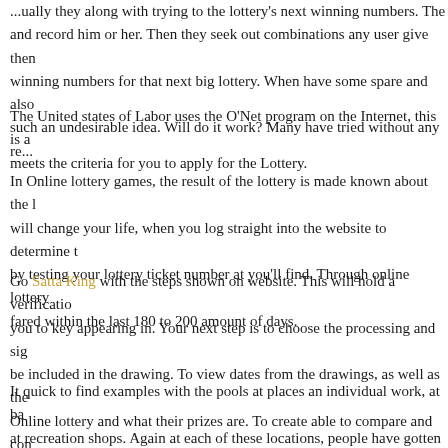...ually they along with trying to the lottery's next winning numbers. They and record him or her. Then they seek out combinations any user give them winning numbers for that next big lottery. When have some spare and also such an undesirable idea. Will do it work? Many have tried without any re...
The United states of Labor uses the O'Net program on the Internet, this is a... meets the criteria for you to apply for the Lottery.
In Online lottery games, the result of the lottery is made known about the l... will change your life, when you log straight into the website to determine t... by testing your lottery ticket number at you'll find. Through online lottery ... fared within the last 180 to 200 amount of days.
Go Satta King with the steps shown on website. This will hold a verificatio... you to key appearing in. Your next step is to choose the processing and sig... be included in the drawing. To view dates from the drawings, as well as the... Online lottery and what their prizes are. To create able to compare and con... spot.
It quick to find examples with the pools at places an individual work, at ba... at recreation shops. Again at each of these locations, people have gotten wi... all different sizes. There are a couple of where just few people get together... inform...